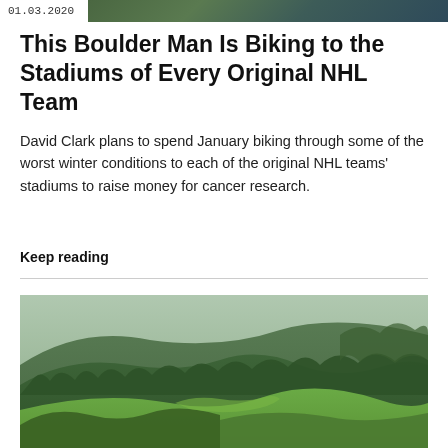01.03.2020
This Boulder Man Is Biking to the Stadiums of Every Original NHL Team
David Clark plans to spend January biking through some of the worst winter conditions to each of the original NHL teams' stadiums to raise money for cancer research.
Keep reading
[Figure (photo): Landscape photo of green rolling hills covered with trees and forest, misty atmosphere in background]